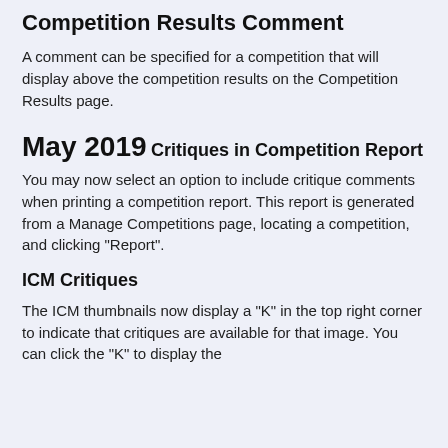Competition Results Comment
A comment can be specified for a competition that will display above the competition results on the Competition Results page.
May 2019
Critiques in Competition Report
You may now select an option to include critique comments when printing a competition report. This report is generated from a Manage Competitions page, locating a competition, and clicking "Report".
ICM Critiques
The ICM thumbnails now display a "K" in the top right corner to indicate that critiques are available for that image. You can click the "K" to display the